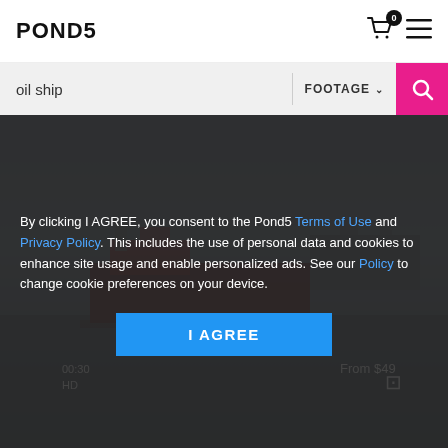POND5
oil ship
FOOTAGE
[Figure (screenshot): Pond5 website screenshot showing oil ship footage search results with a cookie consent overlay dialog. Background shows a misty ocean scene with a large oil tanker/ship. Overlay text: By clicking I AGREE, you consent to the Pond5 Terms of Use and Privacy Policy. This includes the use of personal data and cookies to enhance site usage and enable personalized ads. See our Policy to change cookie preferences on your device. Blue I AGREE button at bottom.]
By clicking I AGREE, you consent to the Pond5 Terms of Use and Privacy Policy. This includes the use of personal data and cookies to enhance site usage and enable personalized ads. See our Policy to change cookie preferences on your device.
I AGREE
From $49
HD